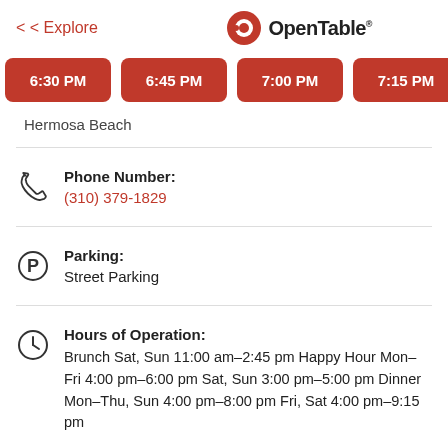< Explore    OpenTable
6:30 PM  6:45 PM  7:00 PM  7:15 PM  7:30 PM  7:…
Hermosa Beach
Phone Number:
(310) 379-1829
Parking:
Street Parking
Hours of Operation:
Brunch Sat, Sun 11:00 am–2:45 pm Happy Hour Mon–Fri 4:00 pm–6:00 pm Sat, Sun 3:00 pm–5:00 pm Dinner Mon–Thu, Sun 4:00 pm–8:00 pm Fri, Sat 4:00 pm–9:15 pm